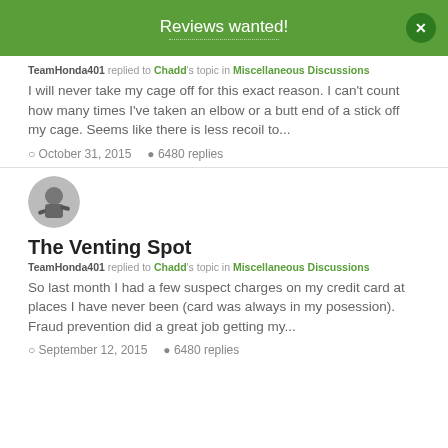Reviews wanted!
TeamHonda401 replied to Chadd's topic in Miscellaneous Discussions
I will never take my cage off for this exact reason. I can't count how many times I've taken an elbow or a butt end of a stick off my cage. Seems like there is less recoil to...
October 31, 2015   6480 replies
The Venting Spot
TeamHonda401 replied to Chadd's topic in Miscellaneous Discussions
So last month I had a few suspect charges on my credit card at places I have never been (card was always in my posession). Fraud prevention did a great job getting my...
September 12, 2015   6480 replies